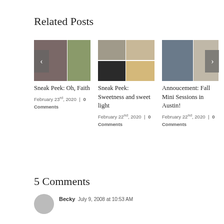Related Posts
[Figure (photo): Photo collage for blog post: Sneak Peek: Oh, Faith]
Sneak Peek: Oh, Faith
February 23rd, 2020  |  0 Comments
[Figure (photo): Photo collage for blog post: Sneak Peek: Sweetness and sweet light]
Sneak Peek: Sweetness and sweet light
February 22nd, 2020  |  0 Comments
[Figure (photo): Photo collage for blog post: Annoucement: Fall Mini Sessions in Austin!]
Annoucement: Fall Mini Sessions in Austin!
February 22nd, 2020  |  0 Comments
5 Comments
Becky  July 9, 2008 at 10:53 AM